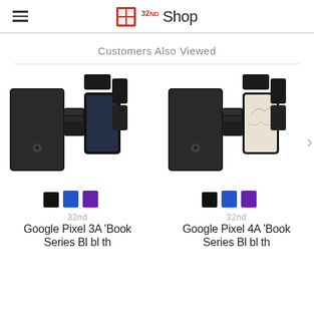32nd Shop
Customers Also Viewed
[Figure (photo): Google Pixel 3A Book Series leather wallet case product photo showing black case in multiple angles with color swatches (black, blue, purple)]
[Figure (photo): Google Pixel 4A Book Series leather wallet case product photo showing black case in multiple angles with color swatches (black, blue, purple)]
32nd
Google Pixel 3A 'Book Series Bl bl th
32nd
Google Pixel 4A 'Book Series Bl bl th